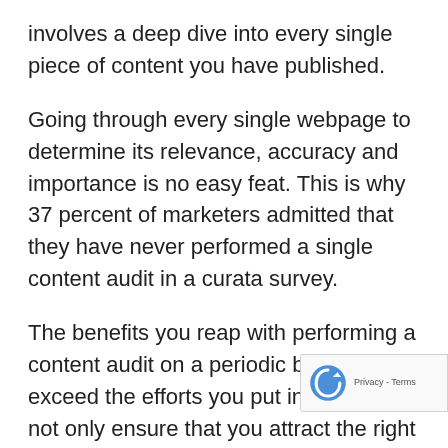involves a deep dive into every single piece of content you have published.
Going through every single webpage to determine its relevance, accuracy and importance is no easy feat. This is why 37 percent of marketers admitted that they have never performed a single content audit in a curata survey.
The benefits you reap with performing a content audit on a periodic basis far exceed the efforts you put in. You can not only ensure that you attract the right traffic which has conversion potential, but you also automate revenue generation by ensuring that your content ranks for the relevant search queries giving rise to compounding business...